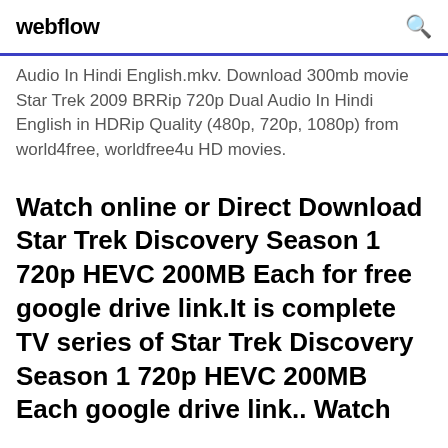webflow
Audio In Hindi English.mkv. Download 300mb movie Star Trek 2009 BRRip 720p Dual Audio In Hindi English in HDRip Quality (480p, 720p, 1080p) from world4free, worldfree4u HD movies.
Watch online or Direct Download Star Trek Discovery Season 1 720p HEVC 200MB Each for free google drive link.It is complete TV series of Star Trek Discovery Season 1 720p HEVC 200MB Each google drive link.. Watch